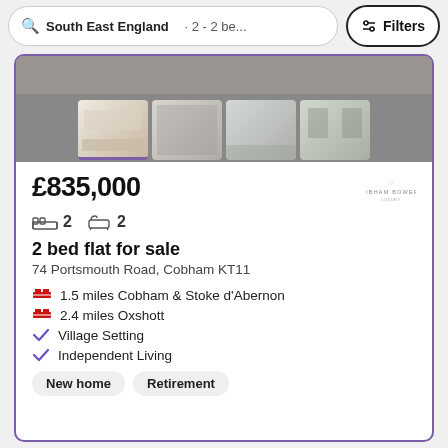South East England · 2 - 2 be...
Filters
[Figure (photo): Property listing thumbnail images showing interior rooms of a flat - living room, dining area, kitchen, and dining room with modern furnishings]
£835,000
2  2
2 bed flat for sale
74 Portsmouth Road, Cobham KT11
1.5 miles Cobham & Stoke d'Abernon
2.4 miles Oxshott
Village Setting
Independent Living
New home
Retirement